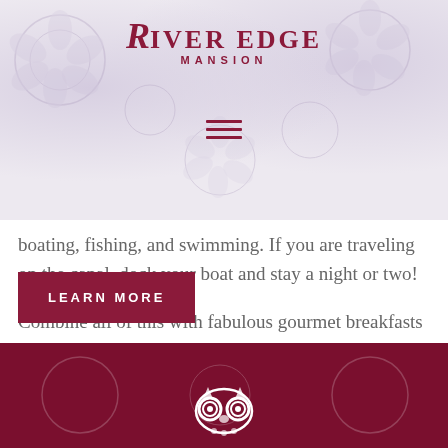[Figure (logo): River Edge Mansion logo with decorative floral background and script R initial]
[Figure (other): Hamburger menu icon (three horizontal lines)]
[Figure (other): BOOK NOW button in dark red/maroon]
boating, fishing, and swimming. If you are traveling on the canal, dock your boat and stay a night or two!
Combine all of this with fabulous gourmet breakfasts and you may never want to leave!
[Figure (other): LEARN MORE button in dark red/maroon]
[Figure (logo): TripAdvisor owl logo icon at bottom in white on dark red background]